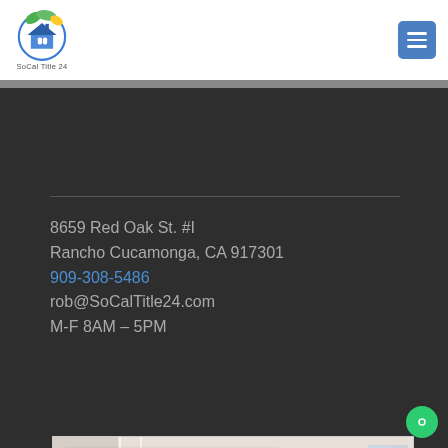[Figure (logo): SoCal Title 24 logo with green leaf and blue house icon, circular design]
8659 Red Oak St. #I
Rancho Cucamonga, CA 917301
909-308-5486
rob@SoCalTitle24.com
M-F 8AM – 5PM
[Figure (map): Google Maps embed showing Southern California Title 24 location with popup showing 'Southern California Title 24' and 'View larger map' link, red pin marker, street view]